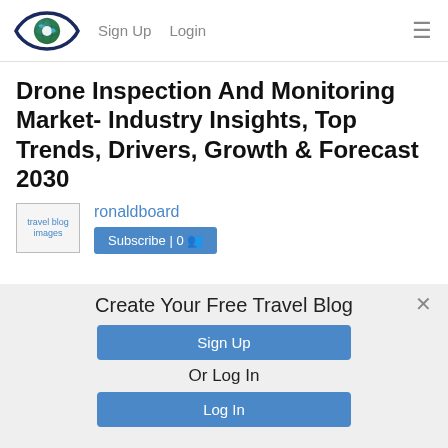Sign Up  Login
Drone Inspection And Monitoring Market- Industry Insights, Top Trends, Drivers, Growth & Forecast 2030
ronaldboard
Subscribe | 0
Create Your Free Travel Blog
Sign Up
Or Log In
Log In